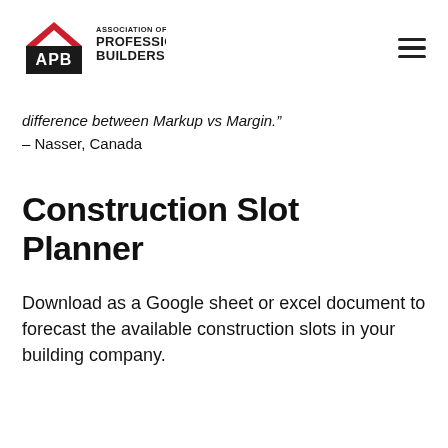[Figure (logo): Association of Professional Builders (APB) logo with red roof icon and bold text]
difference between Markup vs Margin." – Nasser, Canada
Construction Slot Planner
Download as a Google sheet or excel document to forecast the available construction slots in your building company.